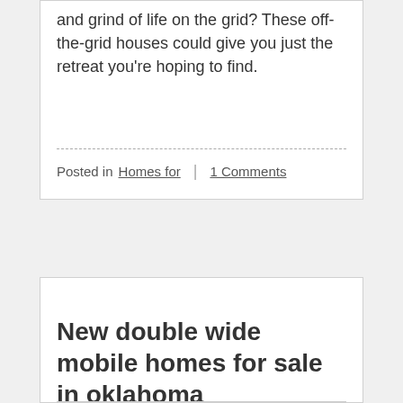and grind of life on the grid? These off-the-grid houses could give you just the retreat you're hoping to find.
Posted in Homes for | 1 Comments
New double wide mobile homes for sale in oklahoma